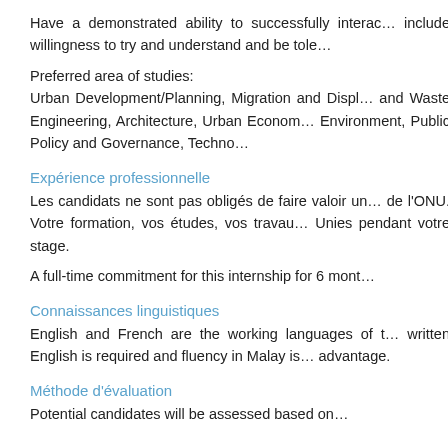Have a demonstrated ability to successfully interact… include willingness to try and understand and be tole…
Preferred area of studies: Urban Development/Planning, Migration and Displ… and Waste Engineering, Architecture, Urban Econom… Environment, Public Policy and Governance, Techno…
Expérience professionnelle
Les candidats ne sont pas obligés de faire valoir un… de l'ONU. Votre formation, vos études, vos travau… Unies pendant votre stage.
A full-time commitment for this internship for 6 mont…
Connaissances linguistiques
English and French are the working languages of t… written English is required and fluency in Malay is… advantage.
Méthode d'évaluation
Potential candidates will be assessed based on…